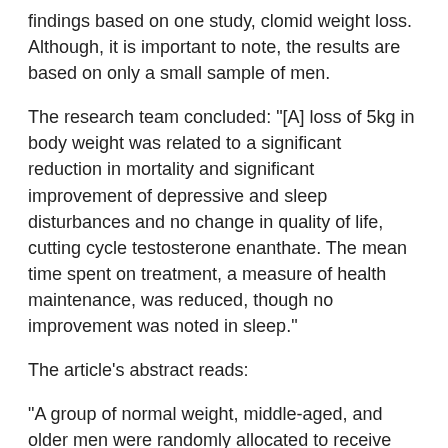findings based on one study, clomid weight loss. Although, it is important to note, the results are based on only a small sample of men.
The research team concluded: "[A] loss of 5kg in body weight was related to a significant reduction in mortality and significant improvement of depressive and sleep disturbances and no change in quality of life, cutting cycle testosterone enanthate. The mean time spent on treatment, a measure of health maintenance, was reduced, though no improvement was noted in sleep."
The article's abstract reads:
"A group of normal weight, middle-aged, and older men were randomly allocated to receive either Weight Watcher's® 4 Week Weight Loss Program [100 males]...